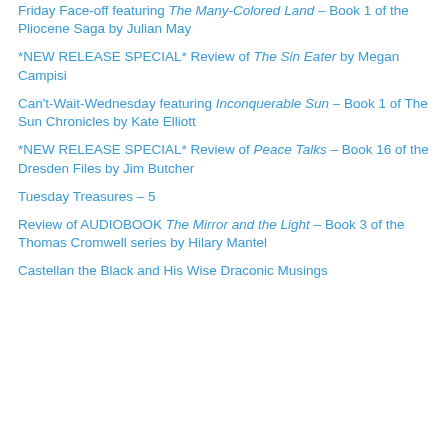Friday Face-off featuring The Many-Colored Land – Book 1 of the Pliocene Saga by Julian May
*NEW RELEASE SPECIAL* Review of The Sin Eater by Megan Campisi
Can't-Wait-Wednesday featuring Inconquerable Sun – Book 1 of The Sun Chronicles by Kate Elliott
*NEW RELEASE SPECIAL* Review of Peace Talks – Book 16 of the Dresden Files by Jim Butcher
Tuesday Treasures – 5
Review of AUDIOBOOK The Mirror and the Light – Book 3 of the Thomas Cromwell series by Hilary Mantel
Castellan the Black and His Wise Draconic Musings